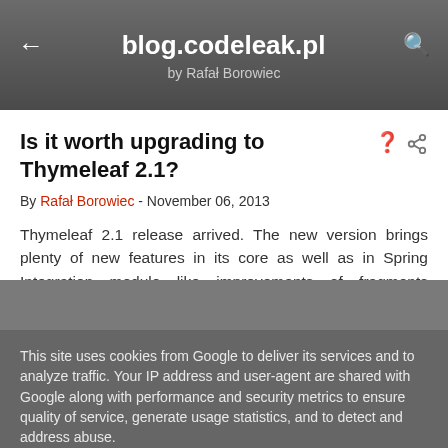blog.codeleak.pl
by Rafał Borowiec
Is it worth upgrading to Thymeleaf 2.1?
By Rafał Borowiec - November 06, 2013
Thymeleaf 2.1 release arrived. The new version brings plenty of new features in its core as well as in Spring Integration module like improvements of fragments inclusions, rendering view fragments directly from @Controller, improved form
This site uses cookies from Google to deliver its services and to analyze traffic. Your IP address and user-agent are shared with Google along with performance and security metrics to ensure quality of service, generate usage statistics, and to detect and address abuse.
LEARN MORE   OK